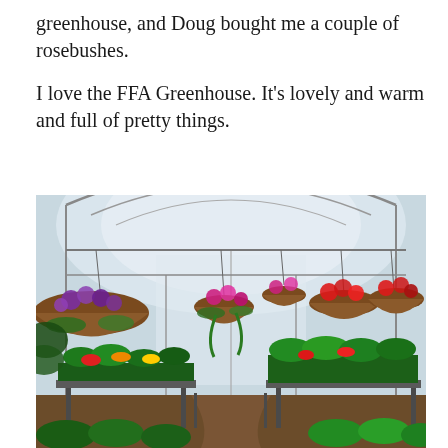greenhouse, and Doug bought me a couple of rosebushes.
I love the FFA Greenhouse. It’s lovely and warm and full of pretty things.
[Figure (photo): Interior of the FFA Greenhouse showing hanging baskets filled with colorful flowers (purple, pink, red) suspended from metal arched framework, with greenhouse plant tables below holding green plants and colorful flowers, and the arched glass/plastic roof allowing natural light.]